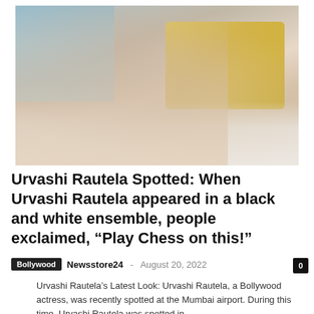[Figure (photo): A Bollywood actress in a light lace outfit sitting on a bed with white sheets and a yellow quilted pillow/headboard in the background, with light blue curtains visible. The image is cropped and shows the subject from shoulders down.]
Urvashi Rautela Spotted: When Urvashi Rautela appeared in a black and white ensemble, people exclaimed, “Play Chess on this!”
Bollywood  Newsstore24  August 20, 2022
Urvashi Rautela’s Latest Look: Urvashi Rautela, a Bollywood actress, was recently spotted at the Mumbai airport. During this time, Urvashi Rautela was spotted in…